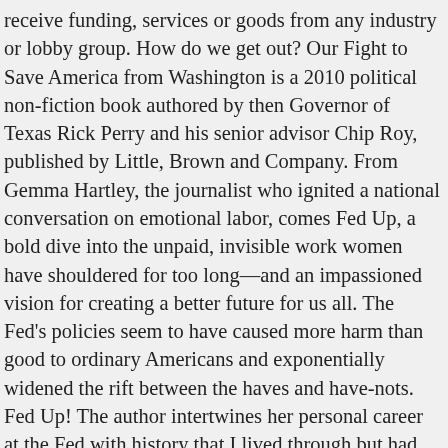receive funding, services or goods from any industry or lobby group. How do we get out? Our Fight to Save America from Washington is a 2010 political non-fiction book authored by then Governor of Texas Rick Perry and his senior advisor Chip Roy, published by Little, Brown and Company. From Gemma Hartley, the journalist who ignited a national conversation on emotional labor, comes Fed Up, a bold dive into the unpaid, invisible work women have shouldered for too long—and an impassioned vision for creating a better future for us all. The Fed's policies seem to have caused more harm than good to ordinary Americans and exponentially widened the rift between the haves and have-nots. Fed Up! The author intertwines her personal career at the Fed with history that I lived through but had little understanding of what was going on with the US economy. It's about the Fed, what do you expect? Hardcover. Perry finds that later presidents such as Lyndon Johnson felt the New Deal worked and initiated their own spending programs like the Great Society. This lady has a